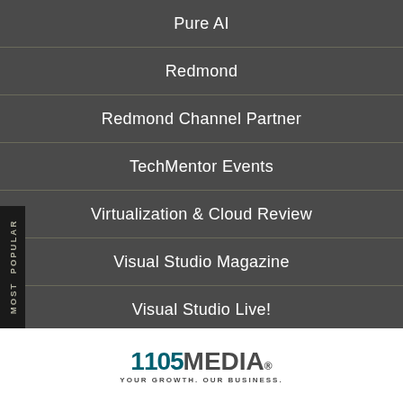Pure AI
Redmond
Redmond Channel Partner
TechMentor Events
Virtualization & Cloud Review
Visual Studio Magazine
Visual Studio Live!
[Figure (logo): 1105 Media Inc logo with tagline YOUR GROWTH. OUR BUSINESS.]